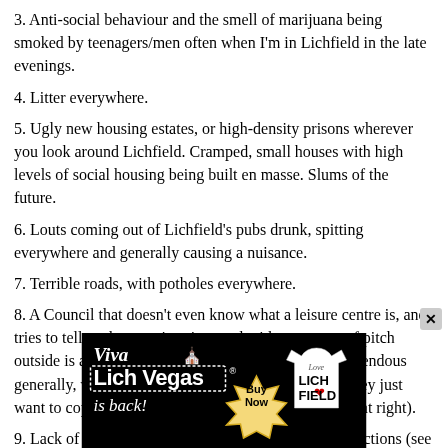3. Anti-social behaviour and the smell of marijuana being smoked by teenagers/men often when I'm in Lichfield in the late evenings.
4. Litter everywhere.
5. Ugly new housing estates, or high-density prisons wherever you look around Lichfield. Cramped, small houses with high levels of social housing being built en masse. Slums of the future.
6. Louts coming out of Lichfield's pubs drunk, spitting everywhere and generally causing a nuisance.
7. Terrible roads, with potholes everywhere.
8. A Council that doesn't even know what a leisure centre is, and tries to tell us that a swimming pool with an astro-turf pitch outside is a leisure centre. In fact, the Council are horrendous generally, with zero vision or ambition for the area (they just want to copy other Councils and then can't even get that right).
9. Lack of investment in any of Lichfield's tourist attractions (see th
[Figure (illustration): Advertisement banner for 'Viva Lich Vegas is back!' with a Buy Now badge and a Love Lichfield t-shirt graphic on black background]